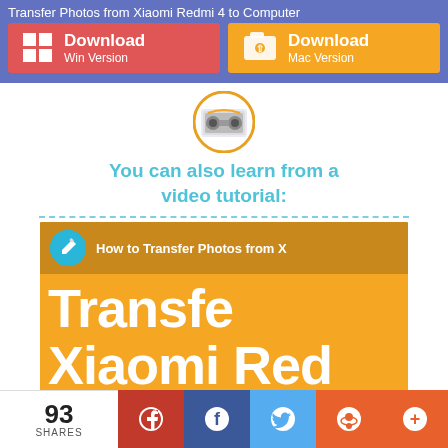Transfer Photos from Xiaomi Redmi 4 to Computer
[Figure (screenshot): Download buttons for Win Version (red) and Mac Version (orange) on a blue-purple background bar]
[Figure (illustration): Tape/cassette icon with orange circular border]
You can also learn from a video tutorial:
[Figure (screenshot): Video thumbnail showing 'How to Transfer Photos from X... Transfe... Xiaomi Red...' on orange background with white text and a blue circular logo icon]
[Figure (infographic): Footer social share bar with 93 SHARES, Pinterest, Facebook, Twitter, Reddit, and More (+) buttons]